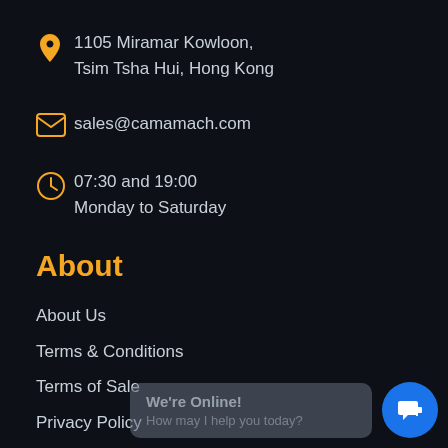1105 Miramar Kowloon, Tsim Tsha Hui, Hong Kong
sales@camamach.com
07:30 and 19:00
Monday to Saturday
About
About Us
Terms & Conditions
Terms of Sale
Privacy Policy
Videos
We're Online!
How may I help you today?